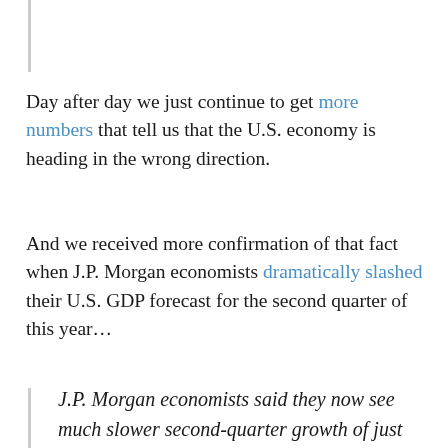Day after day we just continue to get more numbers that tell us that the U.S. economy is heading in the wrong direction.
And we received more confirmation of that fact when J.P. Morgan economists dramatically slashed their U.S. GDP forecast for the second quarter of this year…
J.P. Morgan economists said they now see much slower second-quarter growth of just 1%, down from their prior forecast of 2.25% and way off the 3.2% reported in the first quarter.